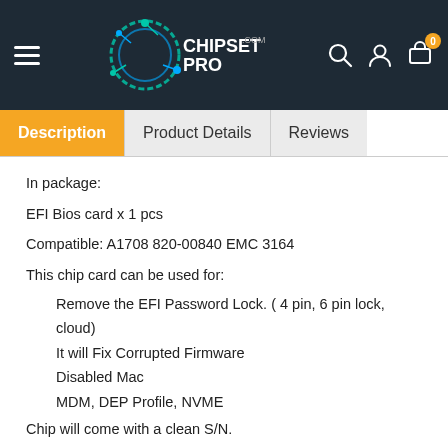CHIPSETPRO.COM
Description | Product Details | Reviews
In package:
EFI Bios card  x 1 pcs
Compatible: A1708 820-00840 EMC 3164
This chip card can be used for:
Remove the EFI Password Lock. ( 4 pin, 6 pin lock, cloud)
It will Fix Corrupted Firmware
Disabled Mac
MDM, DEP Profile, NVME
Chip will come with a clean S/N.
(It will NOT remove the operating system password or Hard Drive